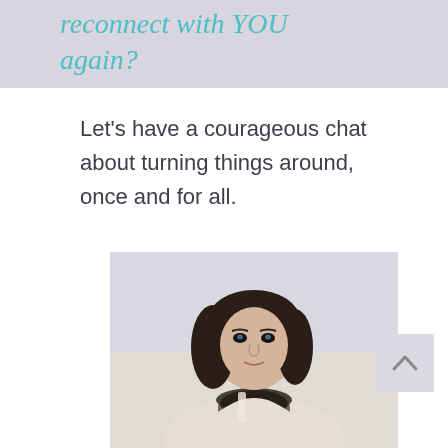reconnect with YOU again?
Let's have a courageous chat about turning things around, once and for all.
[Figure (photo): Portrait photo of a young woman with dark hair, wearing a decorative necklace, looking at camera with a slight smile. White background.]